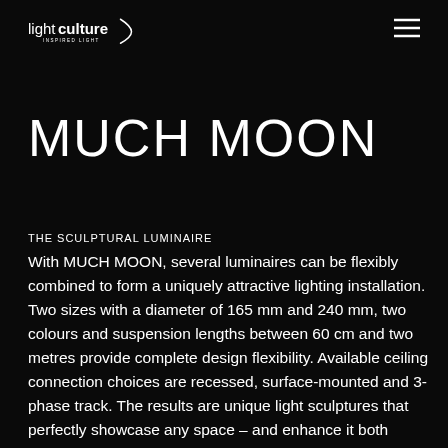lightculture INSPIRED LIGHT
MUCH MOON
THE SCULPTURAL LUMINAIRE
With MUCH MOON, several luminaires can be flexibly combined to form a uniquely attractive lighting installation. Two sizes with a diameter of 165 mm and 240 mm, two colours and suspension lengths between 60 cm and two metres provide complete design flexibility. Available ceiling connection choices are recessed, surface-mounted and 3-phase track. The results are unique light sculptures that perfectly showcase any space – and enhance it both through